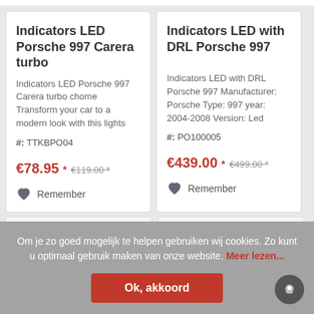Indicators LED Porsche 997 Carera turbo
Indicators LED Porsche 997 Carera turbo chome Transform your car to a modern look with this lights
#: TTKBPO04
€78.95 * €119.00 *
Remember
Indicators LED with DRL Porsche 997
Indicators LED with DRL Porsche 997 Manufacturer: Porsche Type: 997 year: 2004-2008 Version: Led
#: PO100005
€439.00 * €499.00 *
Remember
Om je zo goed mogelijk te helpen gebruiken wij cookies. Zo kunt u optimaal gebruik maken van onze website. Meer lezen...
Ok, akkoord